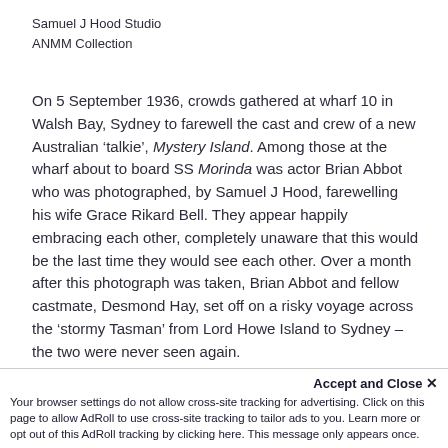Samuel J Hood Studio
ANMM Collection
On 5 September 1936, crowds gathered at wharf 10 in Walsh Bay, Sydney to farewell the cast and crew of a new Australian ‘talkie’, Mystery Island. Among those at the wharf about to board SS Morinda was actor Brian Abbot who was photographed, by Samuel J Hood, farewelling his wife Grace Rikard Bell. They appear happily embracing each other, completely unaware that this would be the last time they would see each other. Over a month after this photograph was taken, Brian Abbot and fellow castmate, Desmond Hay, set off on a risky voyage across the ‘stormy Tasman’ from Lord Howe Island to Sydney – the two were never seen again.
[Figure (photo): Dark/black image area at bottom of page, partially obscured by cookie banner overlay]
Accept and Close ×
Your browser settings do not allow cross-site tracking for advertising. Click on this page to allow AdRoll to use cross-site tracking to tailor ads to you. Learn more or opt out of this AdRoll tracking by clicking here. This message only appears once.